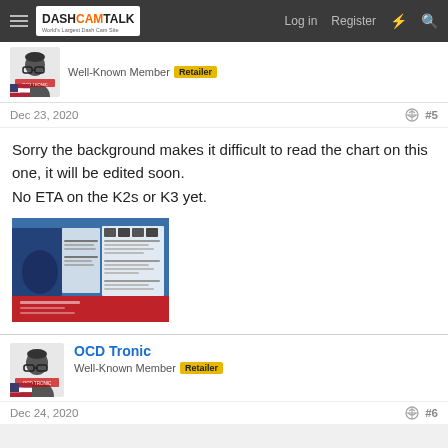DASHCAMTALK — World's Largest Dash Cam Site | Log in | Register
Well-Known Member  Retailer
Dec 23, 2020  #5
Sorry the background makes it difficult to read the chart on this one, it will be edited soon.
No ETA on the K2s or K3 yet.
[Figure (photo): Product comparison chart/advertisement image for a dash cam, showing various camera models, features, and specifications on a blue/red background.]
OCD Tronic
Well-Known Member  Retailer
Dec 24, 2020  #6